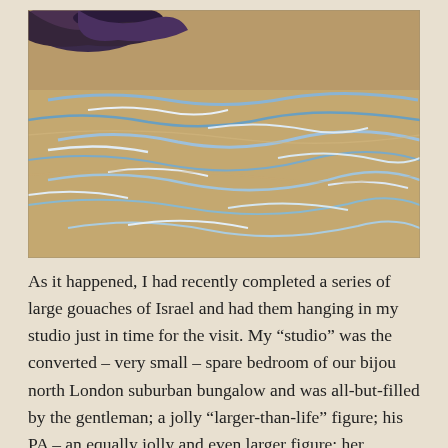[Figure (photo): A painting or photo of water with rippling reflections in blue, white, and tan/brown tones, with dark swirling shapes in the upper left corner.]
As it happened, I had recently completed a series of large gouaches of Israel and had them hanging in my studio just in time for the visit. My “studio” was the converted – very small – spare bedroom of our bijou north London suburban bungalow and was all-but-filled by the gentleman; a jolly “larger-than-life” figure; his PA – an equally jolly and even larger figure; her daughter –